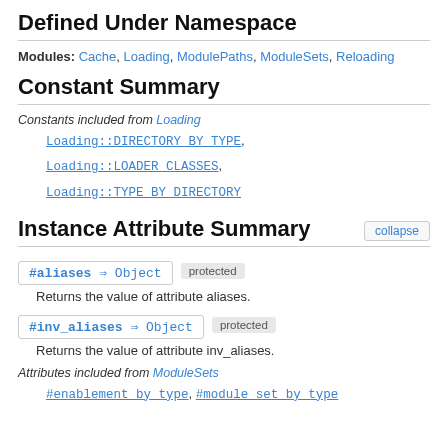Defined Under Namespace
Modules: Cache, Loading, ModulePaths, ModuleSets, Reloading
Constant Summary
Constants included from Loading
Loading::DIRECTORY_BY_TYPE,
Loading::LOADER_CLASSES,
Loading::TYPE_BY_DIRECTORY
Instance Attribute Summary
#aliases ⇒ Object  protected
Returns the value of attribute aliases.
#inv_aliases ⇒ Object  protected
Returns the value of attribute inv_aliases.
Attributes included from ModuleSets
#enablement_by_type, #module_set_by_type